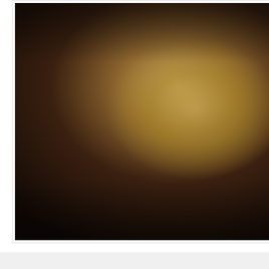[Figure (photo): Photo of a young child with dark hair wearing a yellow jacket, in a dark background, appearing to be at some event]
Carrie at 8:03 PM    No comments:
Post Xmas gift
[Figure (photo): Photo of religious icons/art on what appears to be a decorative tin or box, with scissors visible to the right and some red straws or sticks in the background, on a greenish surface]